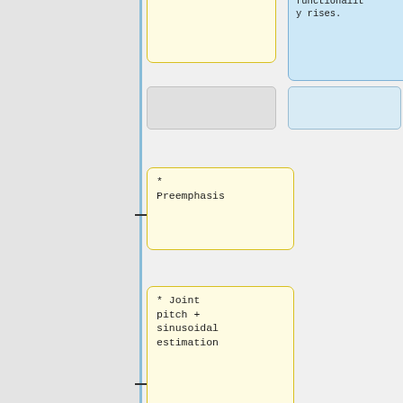[Figure (flowchart): Partial flowchart showing yellow boxes with bullet items: Preemphasis, Joint pitch + sinusoidal estimation, LPC analysis, CELP-like coding of the residual (mainly noise). Right column shows a blue box with 'functionality rises.' and grey empty boxes.]
* Preemphasis
* Joint pitch + sinusoidal estimation
* LPC analysis
* CELP-like coding of the residual (mainly noise)